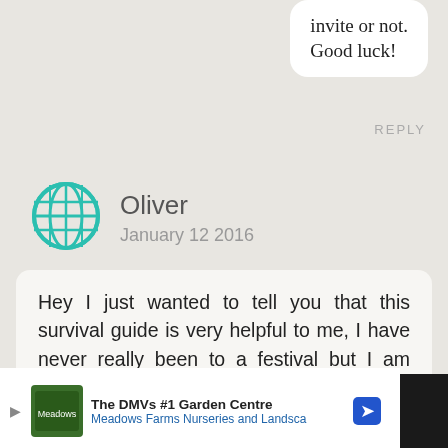invite or not. Good luck!
REPLY
[Figure (illustration): Teal globe/world icon avatar for commenter Oliver]
Oliver
January 12 2016
Hey I just wanted to tell you that this survival guide is very helpful to me, I have never really been to a festival but I am planning on going to Tomorrowland this year since I turn 18 very soon, there are many things about Tomorrowland I wouldn't have known if it wasnt't for this guide, I pre-registered yesterday so I
[Figure (screenshot): Advertisement bar at bottom: The DMVs #1 Garden Centre - Meadows Farms Nurseries and Landsca[pe]]